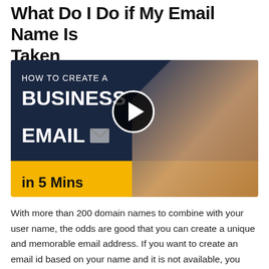What Do I Do if My Email Name Is Taken
[Figure (screenshot): Video thumbnail for 'How to Create a Business Email in 5 Mins' showing text on dark navy and yellow background with a smiling man and a play button overlay]
With more than 200 domain names to combine with your user name, the odds are good that you can create a unique and memorable email address. If you want to create an email id based on your name and it is not available, you could check to see if you can register it in combination with different domain names from a reputable host.